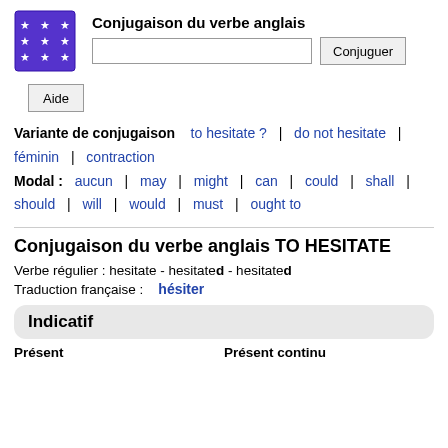[Figure (logo): Blue/purple square logo with white stars arranged in a grid pattern]
Conjugaison du verbe anglais
Variante de conjugaison  to hesitate ?  |  do not hesitate  |  féminin  |  contraction
Modal :  aucun  |  may  |  might  |  can  |  could  |  shall  |  should  |  will  |  would  |  must  |  ought to
Conjugaison du verbe anglais TO HESITATE
Verbe régulier : hesitate - hesitated - hesitated
Traduction française :   hésiter
Indicatif
Présent    Présent continu